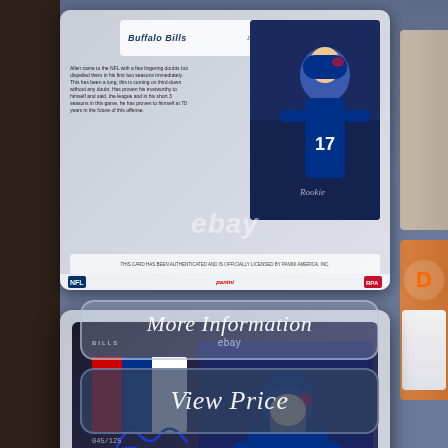[Figure (photo): Buffalo Bills NFL trading card (Panini) in protective case, showing player in Bills uniform with text block and team logo. eBay watermark overlay.]
[Figure (photo): NFL patch autograph trading card (Panini The One) showing player #17 in Buffalo Bills uniform, with tri-color jersey patch swatches, blue ink signature, serial number 045/125. eBay watermark overlay.]
More Information
ebay
View Price